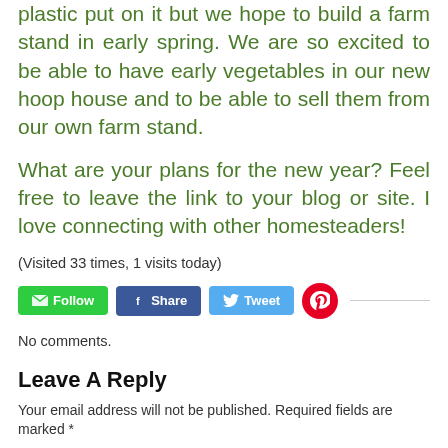plastic put on it but we hope to build a farm stand in early spring. We are so excited to be able to have early vegetables in our new hoop house and to be able to sell them from our own farm stand.
What are your plans for the new year? Feel free to leave the link to your blog or site. I love connecting with other homesteaders!
(Visited 33 times, 1 visits today)
[Figure (other): Social share buttons: Follow (green), Share (Facebook blue), Tweet (Twitter blue), Pinterest (red circle icon)]
No comments.
Leave A Reply
Your email address will not be published. Required fields are marked *
Comment